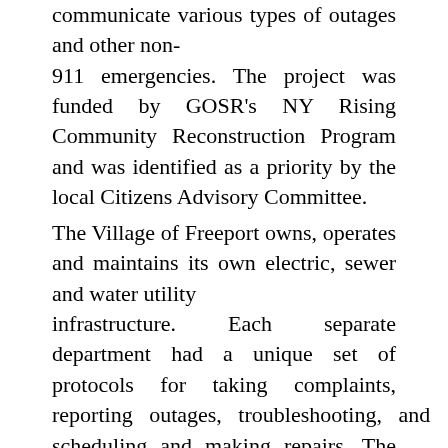communicate various types of outages and other non-911 emergencies. The project was funded by GOSR's NY Rising Community Reconstruction Program and was identified as a priority by the local Citizens Advisory Committee.
The Village of Freeport owns, operates and maintains its own electric, sewer and water utility infrastructure. Each separate department had a unique set of protocols for taking complaints, reporting outages, troubleshooting, and scheduling and making repairs. The new OMS software and hardware is integrated into the existing infrastructure, creating a portal through which complaints are simultaneously routed to Village